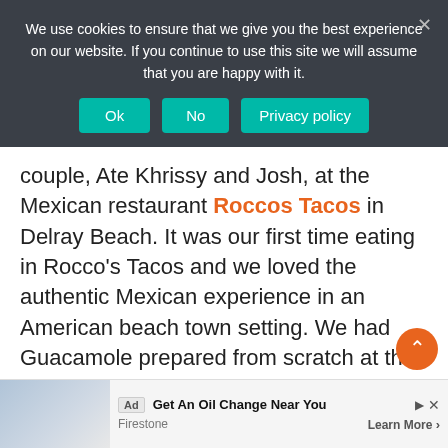We use cookies to ensure that we give you the best experience on our website. If you continue to use this site we will assume that you are happy with it.
couple, Ate Khrissy and Josh, at the Mexican restaurant Roccos Tacos in Delray Beach. It was our first time eating in Rocco's Tacos and we loved the authentic Mexican experience in an American beach town setting. We had Guacamole prepared from scratch at the table, which was incredible to see and even better to taste. We have a full and in-depth food story of our meal coming soon!
Ad | Get An Oil Change Near You | Firestone | Learn More